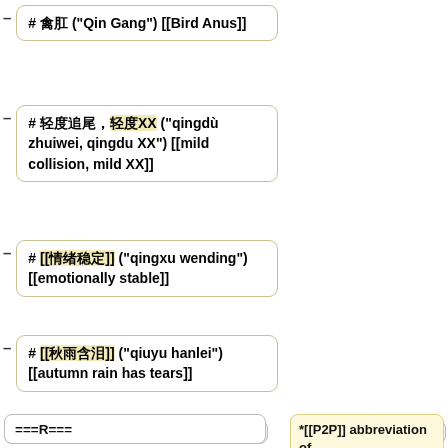# 禽肛 ("Qin Gang") [[Bird Anus]]
# 轻度追尾，轻度XX ("qingdù zhuiwei, qingdu XX") [[mild collision, mild XX]]
# [[情绪稳定]] ("qingxu wending") [[emotionally stable]]
# [[秋雨含泪]] ("qiuyu hanlei") [[autumn rain has tears]]
# 去毛 ("qu mao") [[hair removal]]
===R===
*[[P2P]] abbreviation of